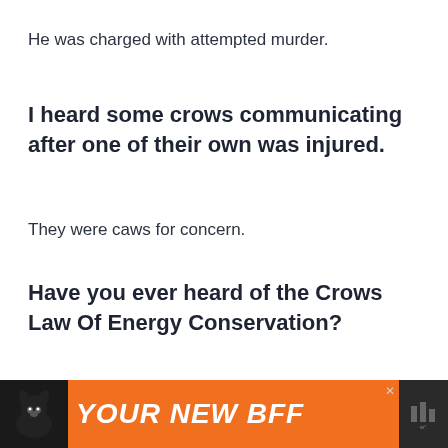He was charged with attempted murder.
I heard some crows communicating after one of their own was injured.
They were caws for concern.
Have you ever heard of the Crows Law Of Energy Conservation?
It's also known as the Law of Caws and Effect.
[Figure (infographic): Advertisement banner at the bottom: orange background with a dog icon on left, bold italic white text reading 'YOUR NEW BFF', close button in top-right corner of orange area, dark right panel with small icon.]